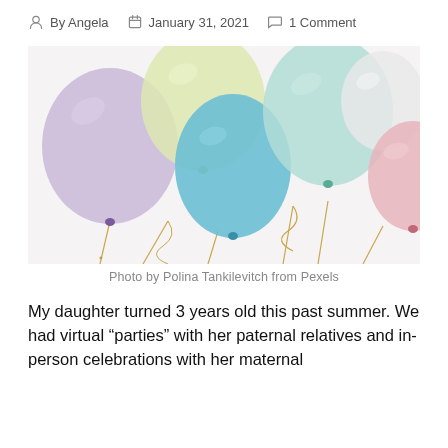By Angela   January 31, 2021   1 Comment
[Figure (photo): Colorful pastel balloons (purple, yellow, blue, mint, white, pink) on sticks with gold strings against a white background.]
Photo by Polina Tankilevitch from Pexels
My daughter turned 3 years old this past summer. We had virtual “parties” with her paternal relatives and in-person celebrations with her maternal